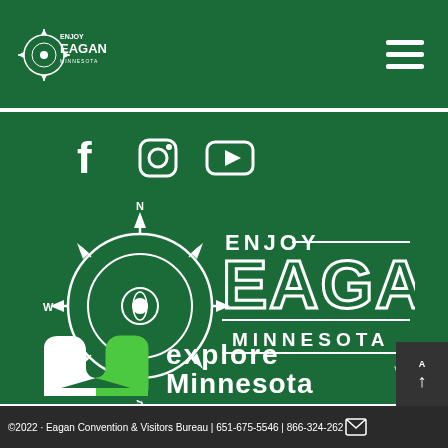Enjoy Eagan Minnesota - Navigation Header
[Figure (logo): Enjoy Eagan Minnesota compass logo in white on dark green header bar]
[Figure (logo): Social media icons: Facebook, Instagram, YouTube on dark green background]
[Figure (logo): Enjoy Eagan Minnesota large compass logo in white on dark green background]
[Figure (logo): Explore Minnesota logo with green M and white text on dark green background]
©2022 · Eagan Convention & Visitors Bureau | 651-675-5546 | 866-324-262